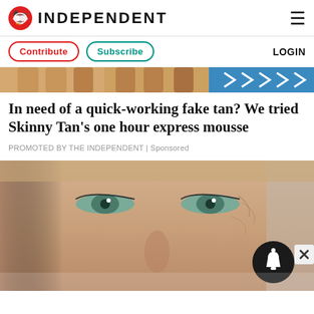INDEPENDENT
Contribute | Subscribe | LOGIN
[Figure (photo): Top strip showing tanned legs and blue fabric]
In need of a quick-working fake tan? We tried Skinny Tan’s one hour express mousse
PROMOTED BY THE INDEPENDENT | Sponsored
[Figure (photo): Close-up of a woman’s face with green eyes showing skin before and after tan treatment, with a notification bell overlay and X close button]